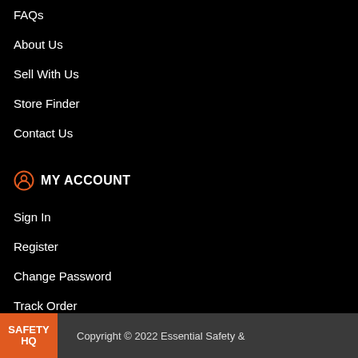FAQs
About Us
Sell With Us
Store Finder
Contact Us
MY ACCOUNT
Sign In
Register
Change Password
Track Order
Copyright © 2022 Essential Safety &